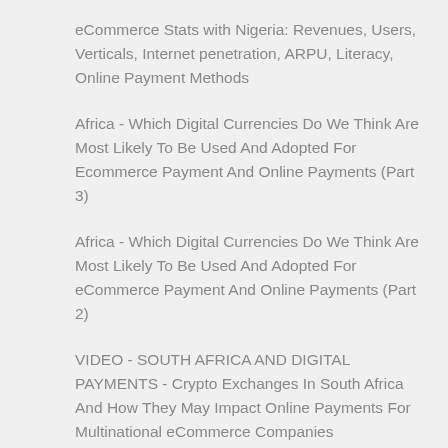eCommerce Stats with Nigeria: Revenues, Users, Verticals, Internet penetration, ARPU, Literacy, Online Payment Methods
Africa - Which Digital Currencies Do We Think Are Most Likely To Be Used And Adopted For Ecommerce Payment And Online Payments (Part 3)
Africa - Which Digital Currencies Do We Think Are Most Likely To Be Used And Adopted For eCommerce Payment And Online Payments (Part 2)
VIDEO - SOUTH AFRICA AND DIGITAL PAYMENTS - Crypto Exchanges In South Africa And How They May Impact Online Payments For Multinational eCommerce Companies